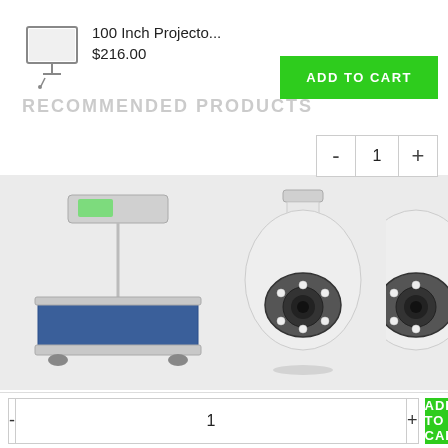[Figure (photo): Small thumbnail image of a projector screen product]
100 Inch Projecto...
$216.00
RECOMMENDED PRODUCTS
ADD TO CART
- 1 +
[Figure (photo): Emporium 150KG Digital platform weighing scale with blue top and metal stand]
Emporium 150KG Digital
$127.00
[Figure (photo): One Light Bulb Security camera shaped like a light bulb with camera lens]
One Light Bulb Security
$59.00
[Figure (photo): Third security camera product partially visible]
Thre
- 1 + ADD TO CART